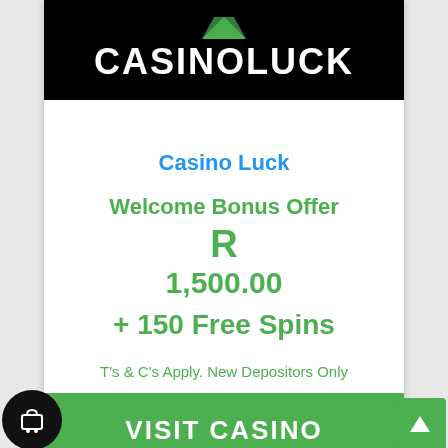[Figure (logo): CasinoLuck logo — white text on black background with green gem icon above]
Casino Luck
Welcome Bonus Offer
R 1,500.00
+ 150 Free Spins
T's & C's Apply. New Depositors Only
VISIT CASINO